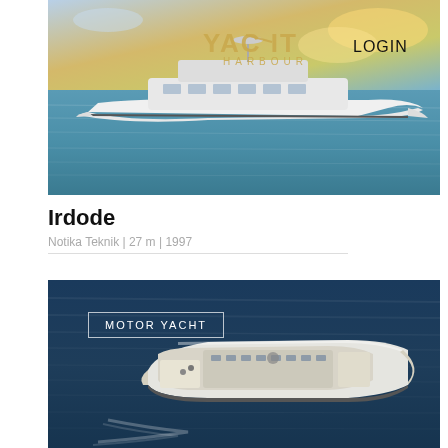[Figure (photo): Side view of a white motor yacht on blue sea water with cloudy sunset sky. Yacht Harbour logo and LOGIN text overlay visible.]
Irdode
Notika Teknik | 27 m | 1997
[Figure (photo): Aerial view of a large motor yacht underway on dark blue ocean water, with MOTOR YACHT label in top left corner.]